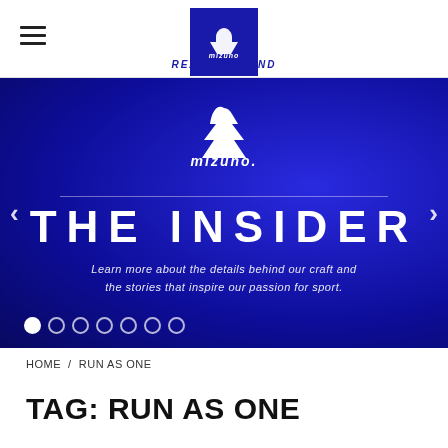[Figure (logo): Mizuno logo in blue square with REACH BEYOND tagline in header]
[Figure (infographic): Mizuno The Insider hero banner on blue background with logo, title THE INSIDER, subtitle text, navigation arrows, and pagination dots]
HOME / RUN AS ONE
TAG: RUN AS ONE